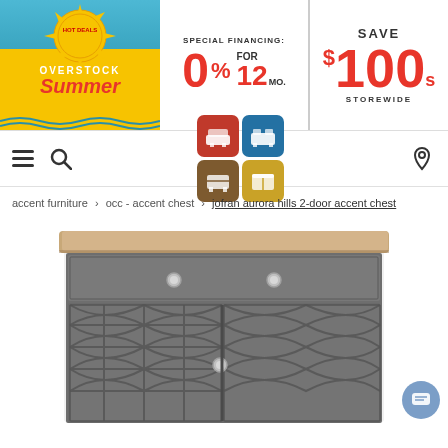[Figure (infographic): Overstock Summer promotional banner with special financing 0% for 12 months and Save $100s storewide]
[Figure (infographic): Navigation bar with hamburger menu, search icon, category icons (bedroom, bed, dresser, other furniture), and location pin icon]
accent furniture > occ - accent chest > jofran aurora hills 2-door accent chest
[Figure (photo): Jofran Aurora Hills 2-door accent chest with gray wood finish, light natural wood top, one drawer with silver knobs, two glass-panel doors with geometric lattice pattern]